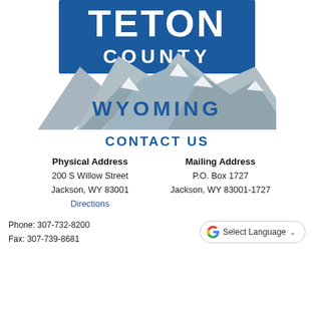[Figure (logo): Teton County Wyoming logo with blue background showing mountain silhouettes and text 'TETON COUNTY WYOMING']
CONTACT US
Physical Address
200 S Willow Street
Jackson, WY 83001
Directions
Mailing Address
P.O. Box 1727
Jackson, WY 83001-1727
Phone: 307-732-8200
Fax: 307-739-8681
[Figure (other): Google Translate widget button labeled 'Select Language' with Google G logo and dropdown chevron]